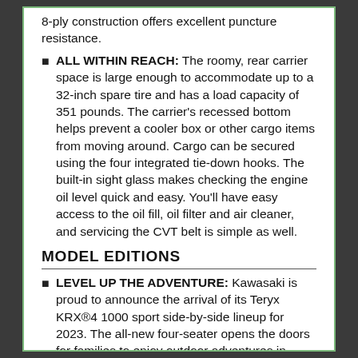8-ply construction offers excellent puncture resistance.
ALL WITHIN REACH: The roomy, rear carrier space is large enough to accommodate up to a 32-inch spare tire and has a load capacity of 351 pounds. The carrier's recessed bottom helps prevent a cooler box or other cargo items from moving around. Cargo can be secured using the four integrated tie-down hooks. The built-in sight glass makes checking the engine oil level quick and easy. You'll have easy access to the oil fill, oil filter and air cleaner, and servicing the CVT belt is simple as well.
MODEL EDITIONS
LEVEL UP THE ADVENTURE: Kawasaki is proud to announce the arrival of its Teryx KRX®4 1000 sport side-by-side lineup for 2023. The all-new four-seater opens the doors for families to enjoy outdoor adventures in class-leading comfort and brings the high-